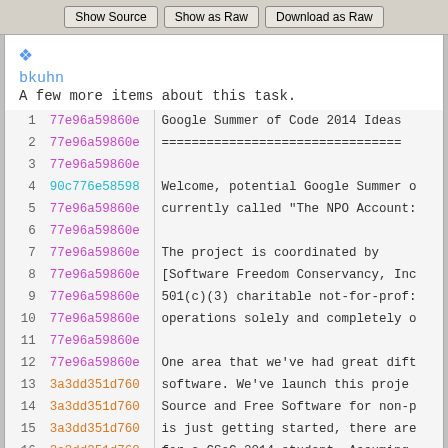Show Source | Show as Raw | Download as Raw
bkuhn
A few more items about this task.
| Line | Commit | Code |
| --- | --- | --- |
| 1 | 77e96a59860e | Google Summer of Code 2014 Ideas |
| 2 | 77e96a59860e | ================================ |
| 3 | 77e96a59860e |  |
| 4 | 90c776e58598 | Welcome, potential Google Summer o |
| 5 | 77e96a59860e | currently called "The NPO Account: |
| 6 | 77e96a59860e |  |
| 7 | 77e96a59860e | The project is coordinated by |
| 8 | 77e96a59860e | [Software Freedom Conservancy, Inc |
| 9 | 77e96a59860e | 501(c)(3) charitable not-for-prof: |
| 10 | 77e96a59860e | operations solely and completely o |
| 11 | 77e96a59860e |  |
| 12 | 77e96a59860e | One area that we've had great dift |
| 13 | 3a3dd351d760 | software.  We've launch this proje |
| 14 | 3a3dd351d760 | Source and Free Software for non-p |
| 15 | 3a3dd351d760 | is just getting started, there are |
| 16 | 3a3dd351d760 | for a GSoC 2014 student.  Assuming |
| 17 | 3a3dd351d760 | selecting just one student, but we |
| 18 | 3a3dd351d760 | need all of these items below done |